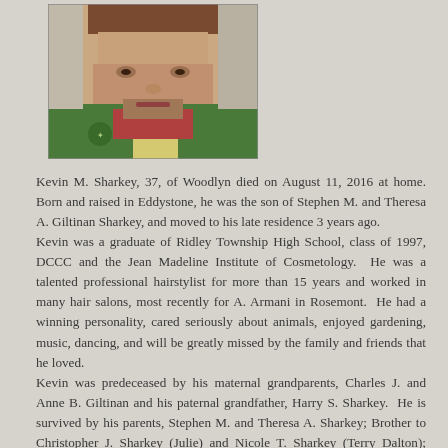[Figure (photo): Portrait photo of Kevin M. Sharkey, a man wearing a green and yellow jacket, visible from approximately the shoulders up.]
Kevin M. Sharkey, 37, of Woodlyn died on August 11, 2016 at home. Born and raised in Eddystone, he was the son of Stephen M. and Theresa A. Giltinan Sharkey, and moved to his late residence 3 years ago.
Kevin was a graduate of Ridley Township High School, class of 1997, DCCC and the Jean Madeline Institute of Cosmetology. He was a talented professional hairstylist for more than 15 years and worked in many hair salons, most recently for A. Armani in Rosemont. He had a winning personality, cared seriously about animals, enjoyed gardening, music, dancing, and will be greatly missed by the family and friends that he loved.
Kevin was predeceased by his maternal grandparents, Charles J. and Anne B. Giltinan and his paternal grandfather, Harry S. Sharkey. He is survived by his parents, Stephen M. and Theresa A. Sharkey; Brother to Christopher J. Sharkey (Julie) and Nicole T. Sharkey (Terry Dalton); Grandson to Margaret A. Sharkey; Loving uncle to to Elise Victoria